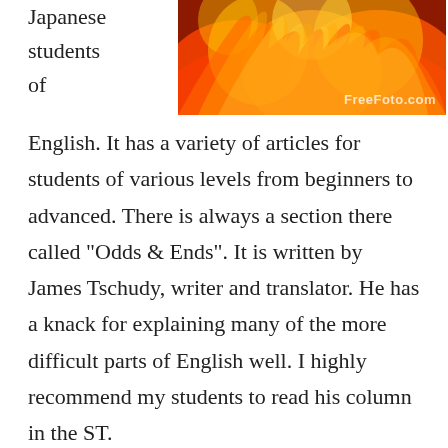Japanese students of
[Figure (photo): Flames/fire photo with FreeFoto.com watermark in bottom right corner]
English.  It has a variety of articles for students of various levels from beginners to advanced.  There is always a section there called “Odds & Ends”.  It is written by James Tschudy, writer and translator.  He has a knack for explaining many of the more difficult parts of English well.  I highly recommend my students to read his column in the ST.
This week he covered burn down, out, up.  His explanation there was particularly good so I will put an excerpt of it here for you to read and if you can please